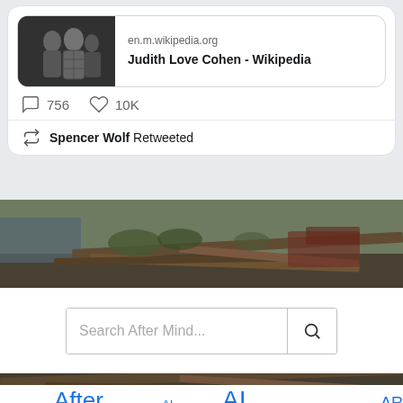[Figure (screenshot): Twitter/social media card showing a Wikipedia link preview for 'Judith Love Cohen - Wikipedia' from en.m.wikipedia.org with a black and white photo, comment count 756, like count 10K, and 'Spencer Wolf Retweeted' retweet indicator]
[Figure (photo): Outdoor landscape background photo showing abandoned wooden boat or structure wreckage with vegetation, greenery and water/sea visible in background]
Search After Mind...
[Figure (photo): Second portion of outdoor landscape background photo showing wooden planks and wreckage]
After Mind  AI Finance  AI Psychology  AR  Artificial Intelligence...